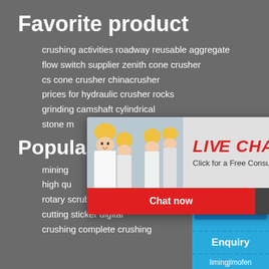Favorite product
crushing activities roadway reusable aggregate
flow switch supplier zenith cone crusher
cs cone crusher chinacrusher
prices for hydraulic crusher rocks
grinding camshaft cylindrical
stone m...
Popular...
mining...
high qu...
rotary scrubber machine
cutting sticker digital
crushing complete crushing
[Figure (screenshot): Live chat popup overlay with a woman in white shirt and yellow helmet, text 'LIVE CHAT' in red italic, 'Click for a Free Consultation', Chat now and Chat later buttons]
[Figure (screenshot): Right sidebar with blue background showing hour online text, industrial crusher machine image, Click me to chat>> button, Enquiry section, and limingjlmofen text]